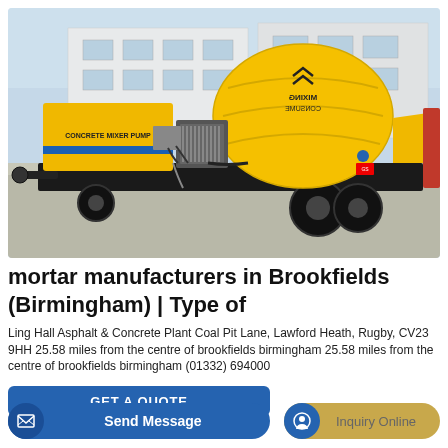[Figure (photo): Yellow concrete mixer pump machine on a trailer with large black tires, parked in an industrial yard with a building in the background. The machine is labeled 'CONCRETE MIXER PUMP' and has a rotating mixing drum.]
mortar manufacturers in Brookfields (Birmingham) | Type of
Ling Hall Asphalt & Concrete Plant Coal Pit Lane, Lawford Heath, Rugby, CV23 9HH 25.58 miles from the centre of brookfields birmingham 25.58 miles from the centre of brookfields birmingham (01332) 694000
GET A QUOTE
Send Message
Inquiry Online